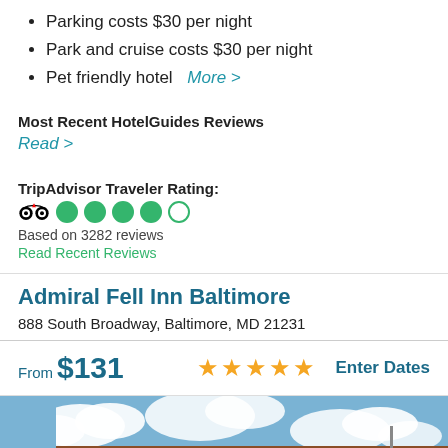Parking costs $30 per night
Park and cruise costs $30 per night
Pet friendly hotel   More >
Most Recent HotelGuides Reviews
Read >
TripAdvisor Traveler Rating:
Based on 3282 reviews
Read Recent Reviews
Admiral Fell Inn Baltimore
888 South Broadway, Baltimore, MD 21231
From $131   ★★★★★   Enter Dates
[Figure (photo): Exterior photo of Admiral Fell Inn Baltimore — a brick building against a blue sky with clouds]